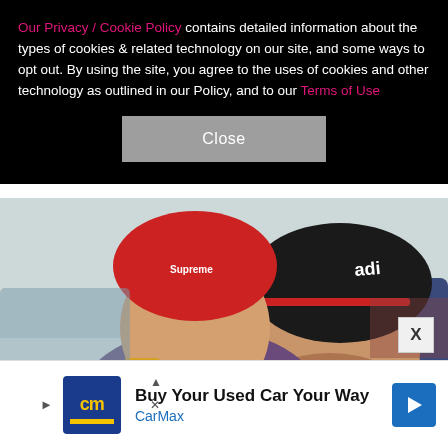Our Privacy / Cookie Policy contains detailed information about the types of cookies & related technology on our site, and some ways to opt out. By using the site, you agree to the uses of cookies and other technology as outlined in our Policy, and to our Terms of Use
Close
[Figure (photo): A young girl wearing a red Supreme beanie and purple jacket piggyback riding on a smiling man wearing a black Adidas beanie and purple jacket, outdoors in a snowy setting]
Buy Your Used Car Your Way CarMax